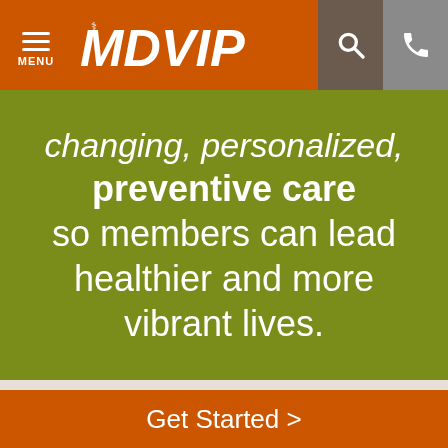MDVIP — Menu, Search, Phone navigation bar
changing, personalized, preventive care so members can lead healthier and more vibrant lives.
Privacy Policy
Terms of Use
Sweepstakes Winner
Get Started >